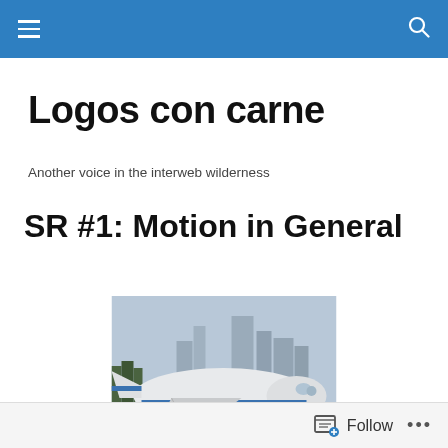Logos con carne – navigation bar
Logos con carne
Another voice in the interweb wilderness
SR #1: Motion in General
[Figure (photo): A large commercial airplane (Boeing 777 or similar, with blue stripe livery) taxiing on the ground, with city skyscrapers in the background under an overcast sky.]
Follow  •••